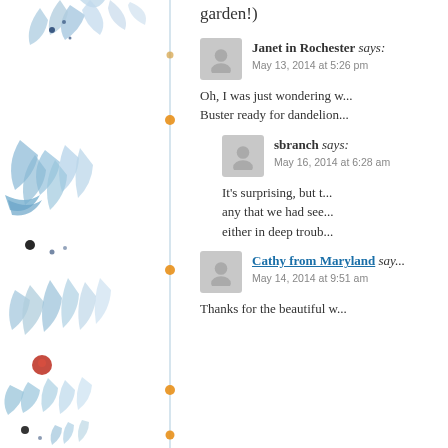[Figure (illustration): Decorative blue floral/botanical watercolor illustration with dots and vertical dotted line with orange dots, forming a sidebar border]
garden!)
Janet in Rochester says:
May 13, 2014 at 5:26 pm

Oh, I was just wondering w... Buster ready for dandelion...
sbranch says:
May 16, 2014 at 6:28 am

It's surprising, but t... any that we had see... either in deep troub...
Cathy from Maryland says:
May 14, 2014 at 9:51 am

Thanks for the beautiful w...